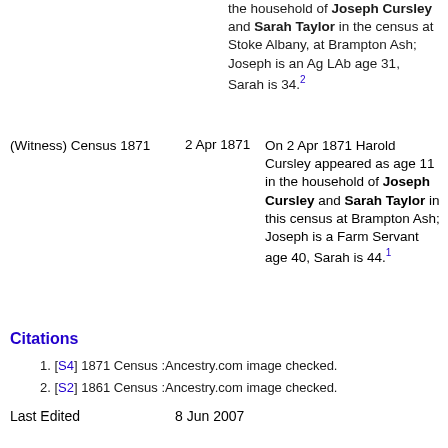the household of Joseph Cursley and Sarah Taylor in the census at Stoke Albany, at Brampton Ash; Joseph is an Ag LAb age 31, Sarah is 34.[2]
(Witness) Census 1871 | 2 Apr 1871 | On 2 Apr 1871 Harold Cursley appeared as age 11 in the household of Joseph Cursley and Sarah Taylor in this census at Brampton Ash; Joseph is a Farm Servant age 40, Sarah is 44.[1]
Citations
1. [S4] 1871 Census :Ancestry.com image checked.
2. [S2] 1861 Census :Ancestry.com image checked.
Last Edited   8 Jun 2007